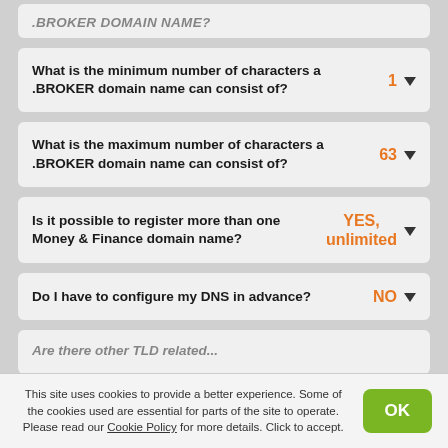[Partial top card - truncated .BROKER domain name question]
What is the minimum number of characters a .BROKER domain name can consist of? — 1
What is the maximum number of characters a .BROKER domain name can consist of? — 63
Is it possible to register more than one Money & Finance domain name? — YES, unlimited
Do I have to configure my DNS in advance? — NO
[Partial bottom card - truncated]
This site uses cookies to provide a better experience. Some of the cookies used are essential for parts of the site to operate. Please read our Cookie Policy for more details. Click to accept.